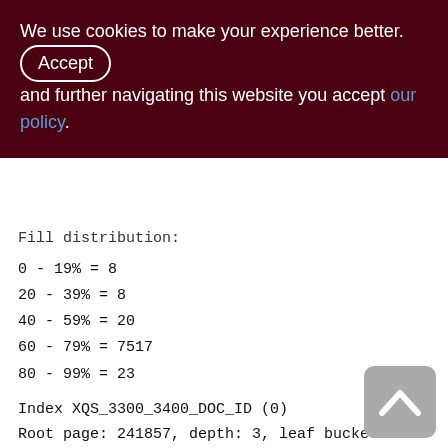We use cookies to make your experience better. By accepting and further navigating this website you accept our policy.
Fill distribution:
0 - 19% = 8
20 - 39% = 8
40 - 59% = 20
60 - 79% = 7517
80 - 99% = 23
Index XQS_3300_3400_DOC_ID (0)
Root page: 241857, depth: 3, leaf buckets: 663, nodes: 550639
Average node length: 5.35, total dup: 514339, max dup: 116
Average key length: 2.50, compression